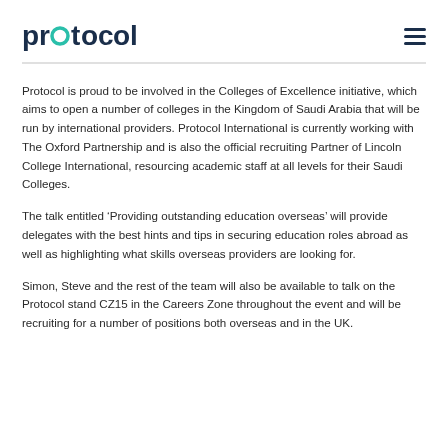protocol
Protocol is proud to be involved in the Colleges of Excellence initiative, which aims to open a number of colleges in the Kingdom of Saudi Arabia that will be run by international providers. Protocol International is currently working with The Oxford Partnership and is also the official recruiting Partner of Lincoln College International, resourcing academic staff at all levels for their Saudi Colleges.
The talk entitled ‘Providing outstanding education overseas’ will provide delegates with the best hints and tips in securing education roles abroad as well as highlighting what skills overseas providers are looking for.
Simon, Steve and the rest of the team will also be available to talk on the Protocol stand CZ15 in the Careers Zone throughout the event and will be recruiting for a number of positions both overseas and in the UK.